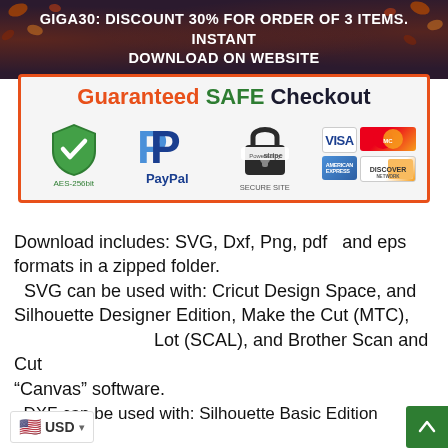GIGA30: DISCOUNT 30% FOR ORDER OF 3 ITEMS. INSTANT DOWNLOAD ON WEBSITE
[Figure (infographic): Guaranteed SAFE Checkout banner with payment icons: AES-256bit shield, PayPal, Stripe secure site lock, VISA, MasterCard, American Express, Discover Network cards]
Download includes: SVG, Dxf, Png, pdf  and eps formats in a zipped folder.
  SVG can be used with: Cricut Design Space, and Silhouette Designer Edition, Make the Cut (MTC), Lot (SCAL), and Brother Scan and Cut "Canvas" software.
  DXF can be used with: Silhouette Basic Edition